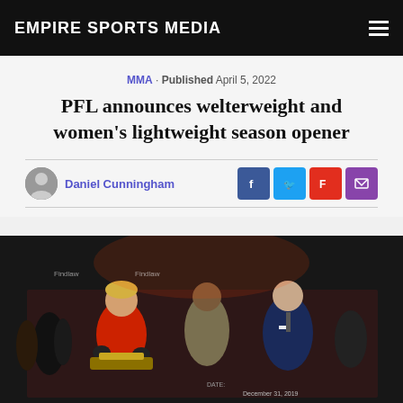EMPIRE SPORTS MEDIA
MMA · Published April 5, 2022
PFL announces welterweight and women's lightweight season opener
Daniel Cunningham
[Figure (photo): A female MMA fighter in red attire holding a championship belt, smiling alongside two men in suits at a PFL event. Other people visible in background near the octagon. Date shown: December 31, 2019.]